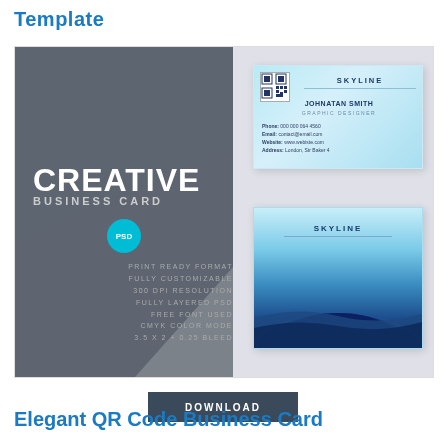Template
[Figure (illustration): Creative business card template preview showing dark grey left panel with 'CREATIVE BUSINESS CARD' text, PSD badge, feature list, and two business card mockups on the right with SKYLINE branding, QR code, contact details, and blue wave design on the back card.]
DOWNLOAD
Elegant QR Code Business Card